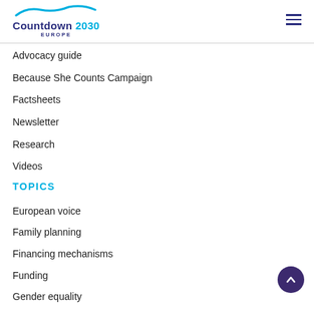Countdown 2030 Europe
Advocacy guide
Because She Counts Campaign
Factsheets
Newsletter
Research
Videos
TOPICS
European voice
Family planning
Financing mechanisms
Funding
Gender equality
Global agenda
Humanitarian aid
Policies
Quality of aid